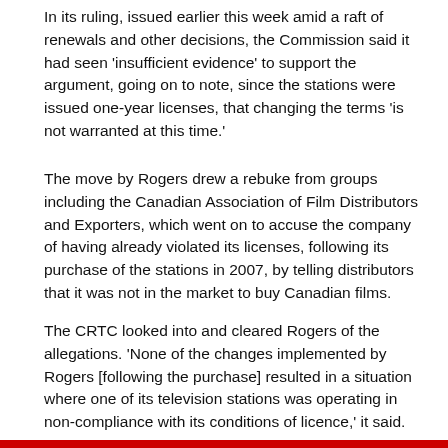In its ruling, issued earlier this week amid a raft of renewals and other decisions, the Commission said it had seen ‘insufficient evidence’ to support the argument, going on to note, since the stations were issued one-year licenses, that changing the terms ‘is not warranted at this time.’
The move by Rogers drew a rebuke from groups including the Canadian Association of Film Distributors and Exporters, which went on to accuse the company of having already violated its licenses, following its purchase of the stations in 2007, by telling distributors that it was not in the market to buy Canadian films.
The CRTC looked into and cleared Rogers of the allegations. ‘None of the changes implemented by Rogers [following the purchase] resulted in a situation where one of its television stations was operating in non-compliance with its conditions of licence,’ it said.
From Playback Daily
Share this: Facebook